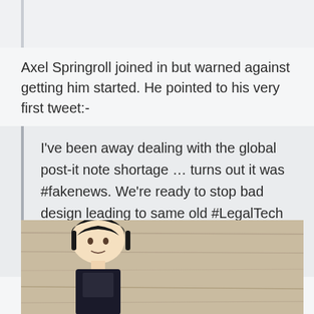Axel Springroll joined in but warned against getting him started. He pointed to his very first tweet:-
I've been away dealing with the global post-it note shortage … turns out it was #fakenews. We're ready to stop bad design leading to same old #LegalTech by removing legal from 'legal design' … more to come.
[Figure (photo): A LEGO figure with black hair, partially visible at the bottom of the page, set against a wooden surface background.]